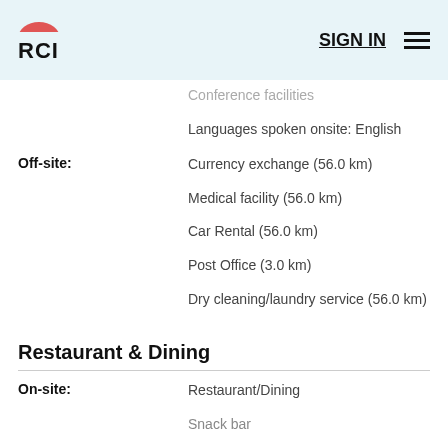RCI SIGN IN
Conference facilities
Languages spoken onsite: English
Off-site:
Currency exchange (56.0 km)
Medical facility (56.0 km)
Car Rental (56.0 km)
Post Office (3.0 km)
Dry cleaning/laundry service (56.0 km)
Restaurant & Dining
On-site:
Restaurant/Dining
Snack bar